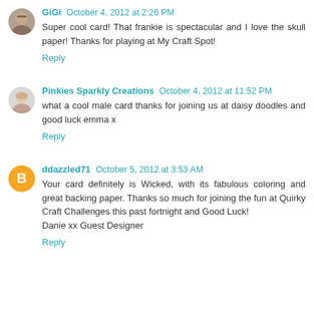GiGi October 4, 2012 at 2:26 PM
Super cool card! That frankie is spectacular and I love the skull paper! Thanks for playing at My Craft Spot!
Reply
Pinkies Sparkly Creations October 4, 2012 at 11:52 PM
what a cool male card thanks for joining us at daisy doodles and good luck emma x
Reply
ddazzled71 October 5, 2012 at 3:53 AM
Your card definitely is Wicked, with its fabulous coloring and great backing paper. Thanks so much for joining the fun at Quirky Craft Challenges this past fortnight and Good Luck!
Danie xx Guest Designer
Reply